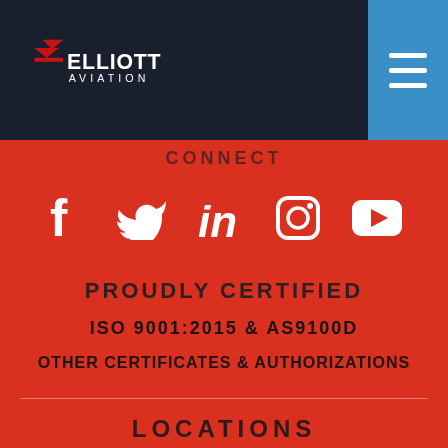Elliott Aviation
CONNECT
[Figure (infographic): Social media icons row: Facebook, Twitter, LinkedIn, Instagram, YouTube — white icons on red background]
PROUDLY CERTIFIED
ISO 9001:2015 & AS9100D
OTHER CERTIFICATES & AUTHORIZATIONS
LOCATIONS